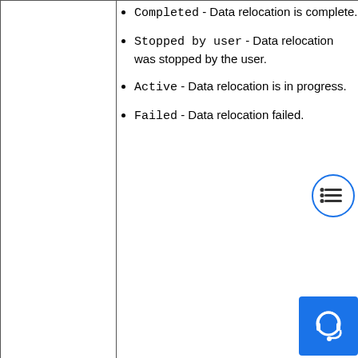Completed - Data relocation is complete.
Stopped by user - Data relocation was stopped by the user.
Active - Data relocation is in progress.
Failed - Data relocation failed.
| Field | Description |
| --- | --- |
| Relocation type | Type of data relocation. Value is one of the following:
• Manual - Data relocation was initiated by the user.
• Scheduled or rebalancing - Data relocation was initiated by the system because it was scheduled, or because the |